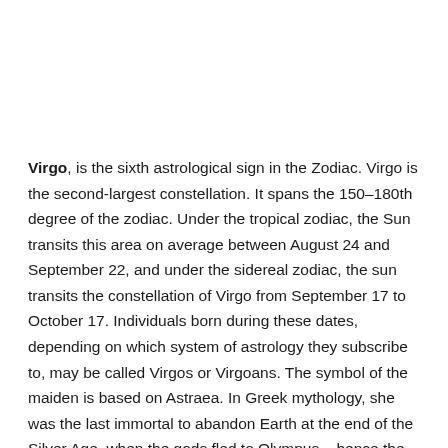Virgo, is the sixth astrological sign in the Zodiac. Virgo is the second-largest constellation. It spans the 150–180th degree of the zodiac. Under the tropical zodiac, the Sun transits this area on average between August 24 and September 22, and under the sidereal zodiac, the sun transits the constellation of Virgo from September 17 to October 17. Individuals born during these dates, depending on which system of astrology they subscribe to, may be called Virgos or Virgoans. The symbol of the maiden is based on Astraea. In Greek mythology, she was the last immortal to abandon Earth at the end of the Silver Age, when the gods fled to Olympus – hence the sign's association with Earth.